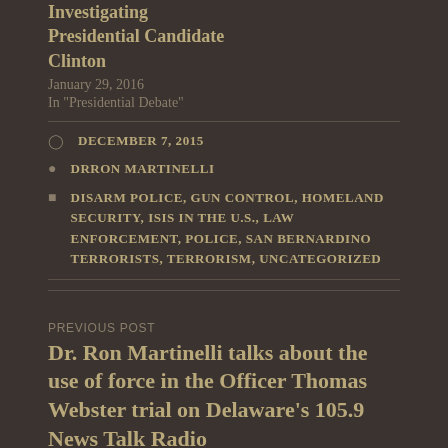Investigating Presidential Candidate Clinton
January 29, 2016
In "Presidential Debate"
DECEMBER 7, 2015
DRRON MARTINELLI
DISARM POLICE, GUN CONTROL, HOMELAND SECURITY, ISIS IN THE U.S., LAW ENFORCEMENT, POLICE, SAN BERNARDINO TERRORISTS, TERRORISM, UNCATEGORIZED
PREVIOUS POST
Dr. Ron Martinelli talks about the use of force in the Officer Thomas Webster trial on Delaware's 105.9 News Talk Radio